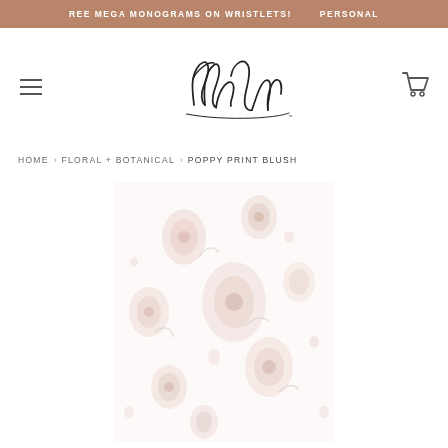REE MEGA MONOGRAMS ON WRISTLETS!  PERSONAL
[Figure (logo): MaryDesigns cursive signature logo in black ink on white background]
HOME › FLORAL + BOTANICAL › POPPY PRINT BLUSH
[Figure (photo): Poppy Print Blush product image showing a blush/white floral pattern fabric or paper]